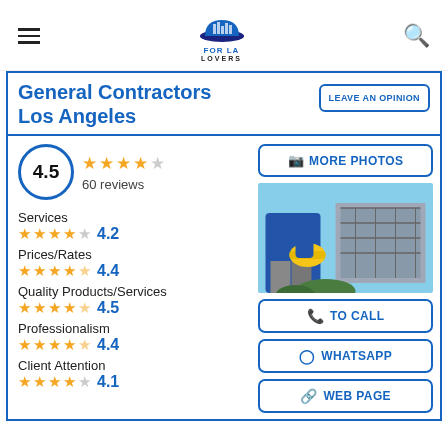FOR LA LOVERS
General Contractors Los Angeles
LEAVE AN OPINION
4.5 ★★★★½ 60 reviews
MORE PHOTOS
[Figure (photo): Construction worker in blue jacket holding yellow hard hat in front of building under construction]
Services ★★★★☆ 4.2
Prices/Rates ★★★★½ 4.4
Quality Products/Services ★★★★½ 4.5
Professionalism ★★★★½ 4.4
Client Attention ★★★★☆ 4.1
TO CALL
WHATSAPP
WEB PAGE